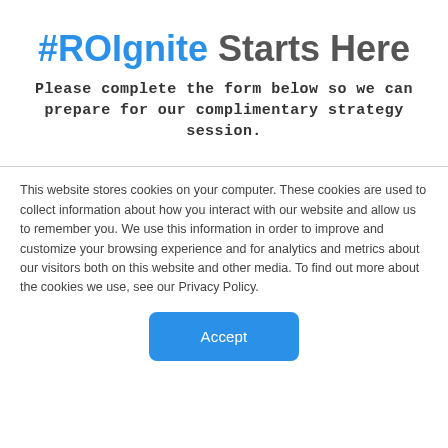#ROIgnite Starts Here
Please complete the form below so we can prepare for our complimentary strategy session.
This website stores cookies on your computer. These cookies are used to collect information about how you interact with our website and allow us to remember you. We use this information in order to improve and customize your browsing experience and for analytics and metrics about our visitors both on this website and other media. To find out more about the cookies we use, see our Privacy Policy.
Accept